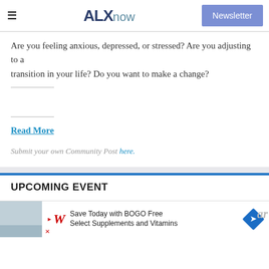ALXnow — Newsletter
Are you feeling anxious, depressed, or stressed? Are you adjusting to a transition in your life? Do you want to make a change?
Read More
Submit your own Community Post here.
UPCOMING EVENT